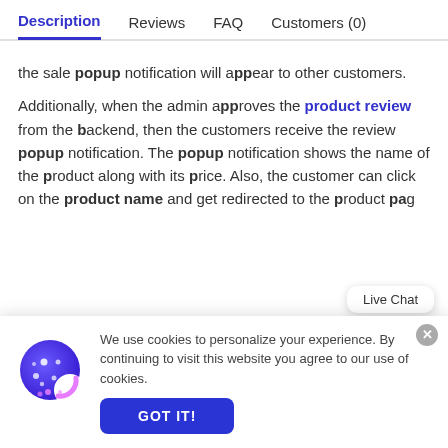Description | Reviews | FAQ | Customers (0)
the sale popup notification will appear to other customers.
Additionally, when the admin approves the product review from the backend, then the customers receive the review popup notification. The popup notification shows the name of the product along with its price. Also, the customer can click on the product name and get redirected to the product pag
Live Chat
We use cookies to personalize your experience. By continuing to visit this website you agree to our use of cookies.
GOT IT!